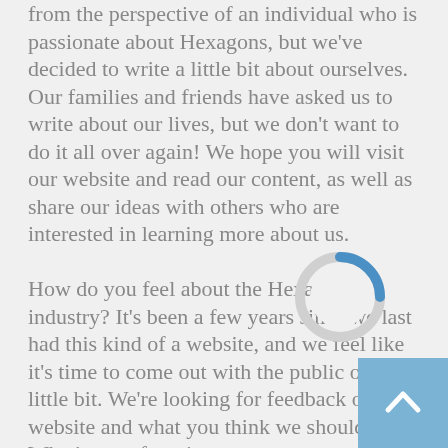from the perspective of an individual who is passionate about Hexagons, but we've decided to write a little bit about ourselves. Our families and friends have asked us to write about our lives, but we don't want to do it all over again! We hope you will visit our website and read our content, as well as share our ideas with others who are interested in learning more about us.

How do you feel about the Hexagon industry? It's been a few years since we last had this kind of a website, and we feel like it's time to come out with the public on us a little bit. We're looking for feedback on our website and what you think we should cha... What's your favorite part
[Figure (other): Circular loading spinner with blue arc segment overlaid on text content]